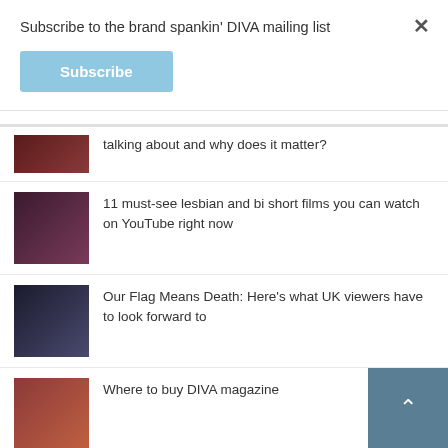Subscribe to the brand spankin' DIVA mailing list
Subscribe
talking about and why does it matter?
11 must-see lesbian and bi short films you can watch on YouTube right now
Our Flag Means Death: Here's what UK viewers have to look forward to
Where to buy DIVA magazine
Six OITNB sex scenes that made us go... "I'm SOOO GAY"
Hear from A League Of Their Own's Abby Jacobson in this week's episode of #podDIVA